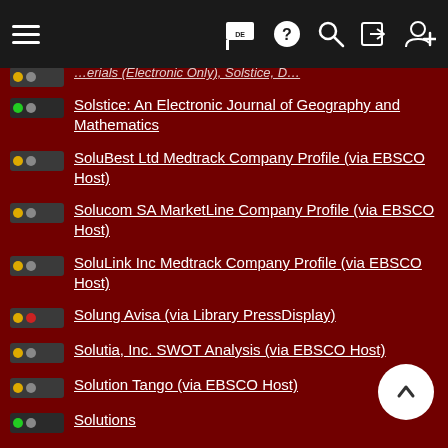Navigation bar with menu, flag/DE, help, search, login, register icons
Solstice: An Electronic Journal of Geography and Mathematics
SoluBest Ltd Medtrack Company Profile (via EBSCO Host)
Solucom SA MarketLine Company Profile (via EBSCO Host)
SoluLink Inc Medtrack Company Profile (via EBSCO Host)
Solung Avisa (via Library PressDisplay)
Solutia, Inc. SWOT Analysis (via EBSCO Host)
Solution Tango (via EBSCO Host)
Solutions
Solutions : For a Sustainable and Desirable